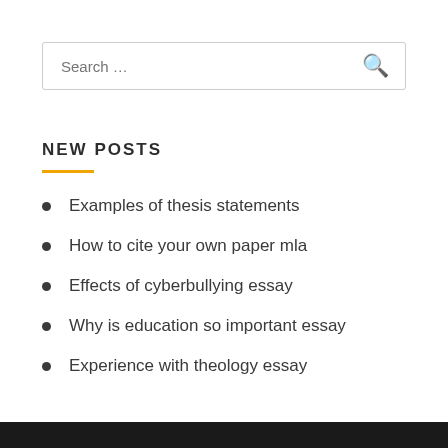Search …
NEW POSTS
Examples of thesis statements
How to cite your own paper mla
Effects of cyberbullying essay
Why is education so important essay
Experience with theology essay